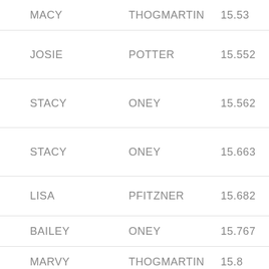| MACY | THOGMARTIN | 15.53 |
| JOSIE | POTTER | 15.552 |
| STACY | ONEY | 15.562 |
| STACY | ONEY | 15.663 |
| LISA | PFITZNER | 15.682 |
| BAILEY | ONEY | 15.767 |
| MARVY | THOGMARTIN | 15.8 |
| TIA | MOORE | 15.821 |